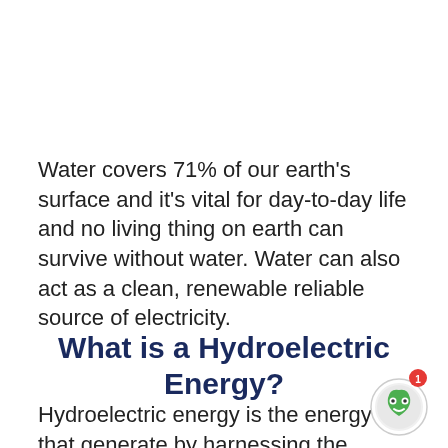Water covers 71% of our earth's surface and it's vital for day-to-day life and no living thing on earth can survive without water. Water can also act as a clean, renewable reliable source of electricity.
What is a Hydroelectric Energy?
Hydroelectric energy is the energy that generate by harnessing the power of moving water with the help of a hydraulic or
[Figure (illustration): Chat widget icon in the bottom-right corner with a green circular robot/face icon and a red notification badge showing '1']